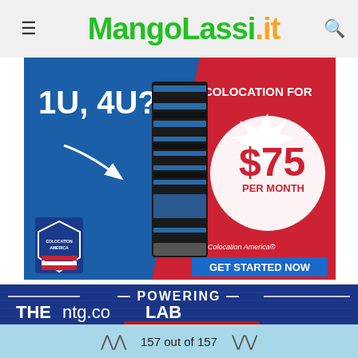MangoLassi.it
[Figure (infographic): Colocation America advertisement banner: dark blue and red background with server rack image, text '10, 4U? COLOCATION FOR $75 PER MONTH', Colocation America shield logo, 'GET STARTED NOW' button]
[Figure (infographic): NTG advertisement banner: dark blue background with text 'POWERING THE ntg.coLAB' and red 'HOW CAN WE HELP YOU?' button]
157 out of 157